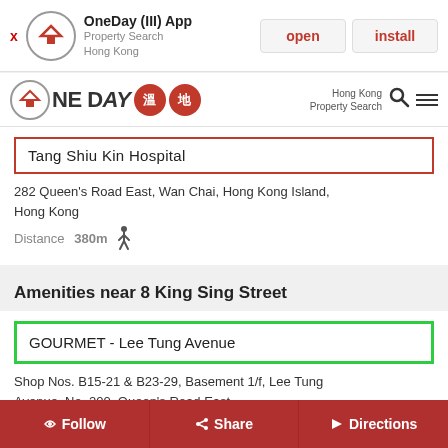[Figure (screenshot): App install banner for OneDay (III) App - Property Search Hong Kong, with open and install buttons]
[Figure (logo): OneDay property search Hong Kong logo with red Chinese character badges and navigation icons]
Tang Shiu Kin Hospital
282 Queen's Road East, Wan Chai, Hong Kong Island, Hong Kong
Distance 380m
Amenities near 8 King Sing Street
GOURMET - Lee Tung Avenue
Shop Nos. B15-21 & B23-29, Basement 1/f, Lee Tung Avenue, No. 200, Queen's Road East
Follow  Share  Directions